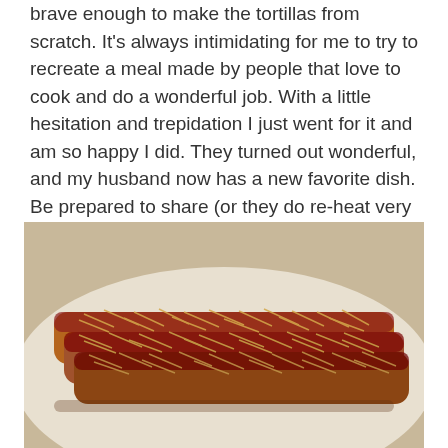brave enough to make the tortillas from scratch. It's always intimidating for me to try to recreate a meal made by people that love to cook and do a wonderful job. With a little hesitation and trepidation I just went for it and am so happy I did. They turned out wonderful, and my husband now has a new favorite dish. Be prepared to share (or they do re-heat very well), this will yield 2 dozen enchiladas.
[Figure (photo): Photo of enchiladas on a white plate, covered in red sauce and melted shredded cheese, arranged in a row.]